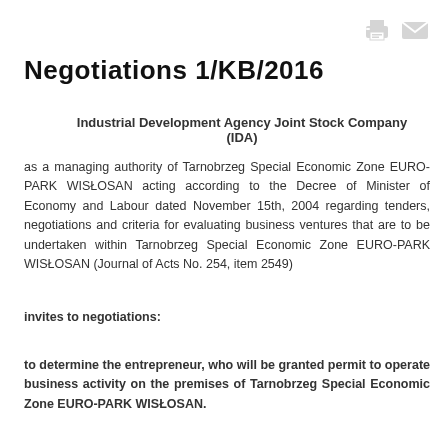[Figure (other): Print and email icons in top right corner]
Negotiations 1/KB/2016
Industrial Development Agency Joint Stock Company (IDA)
as a managing authority of Tarnobrzeg Special Economic Zone EURO-PARK WISŁOSAN acting according to the Decree of Minister of Economy and Labour dated November 15th, 2004 regarding tenders, negotiations and criteria for evaluating business ventures that are to be undertaken within Tarnobrzeg Special Economic Zone EURO-PARK WISŁOSAN (Journal of Acts No. 254, item 2549)
invites to negotiations:
to determine the entrepreneur, who will be granted permit to operate business activity on the premises of Tarnobrzeg Special Economic Zone EURO-PARK WISŁOSAN.